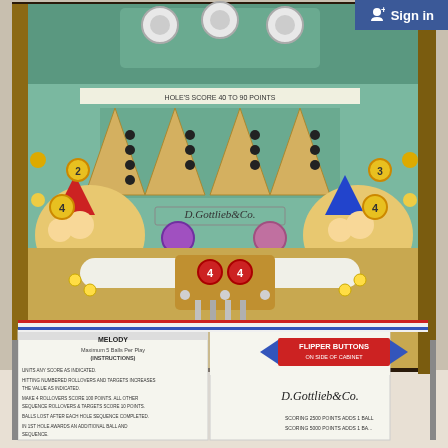[Figure (photo): Photograph of a D. Gottlieb & Co. 'Melody' pinball machine playfield and apron. The playfield shows colorful artwork with clown/children characters, numbered bumpers (marked 4), rollover buttons, targets, and a D. Gottlieb & Co. logo in the center. The lower apron has instruction cards on the left reading 'MELODY - Maximum 5 balls per play - Instructions' with game rules, a 'D. Gottlieb & Co.' script logo in the center, and a blue arrow sign reading 'FLIPPER BUTTONS ON SIDE OF CABINET' with scoring info on the right ('SCORING 2500 POINTS ADDS 1 BALL / SCORING 5000 POINTS ADDS 1 BA...'). A 'Sign in' button with person-plus icon appears in the top-right corner on a blue background. Below the main photo is a white/grey area.]
Sign in